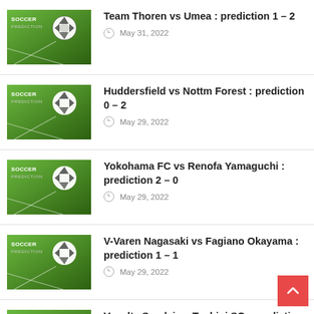Team Thoren vs Umea : prediction 1 – 2
May 31, 2022
Huddersfield vs Nottm Forest : prediction 0 – 2
May 29, 2022
Yokohama FC vs Renofa Yamaguchi : prediction 2 – 0
May 29, 2022
V-Varen Nagasaki vs Fagiano Okayama : prediction 1 – 1
May 29, 2022
Vegalta Sendai vs Tochigi SC : prediction 2